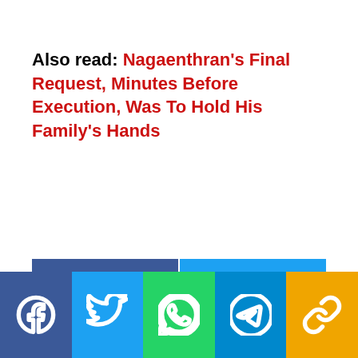Also read: Nagaenthran's Final Request, Minutes Before Execution, Was To Hold His Family's Hands
[Figure (infographic): Social media share buttons: Facebook (blue), Twitter (light blue), WhatsApp (green), Telegram (blue), Copy Link (yellow/gold). A partial share bar in blue and cyan appears above the main icon row.]